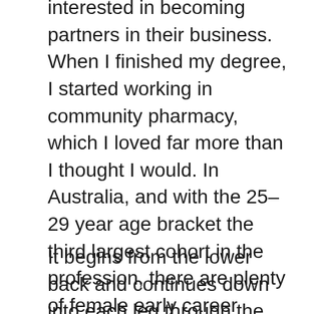interested in becoming partners in their business. When I finished my degree, I started working in community pharmacy, which I loved far more than I thought I would. In Australia, and with the 25–29 year age bracket the third largest cohort in the profession, there are plenty of female early career pharmacists. Some members of the older generation still see pharmacists as men, and are not used to young women in positions of power or offering health advice. But I'm confident in my knowledge as a young pharmacist.
It begins from the lower back and continues down into each leg through the hips, connecting all the lower back muscles to the toes. A huge percentage of people in every